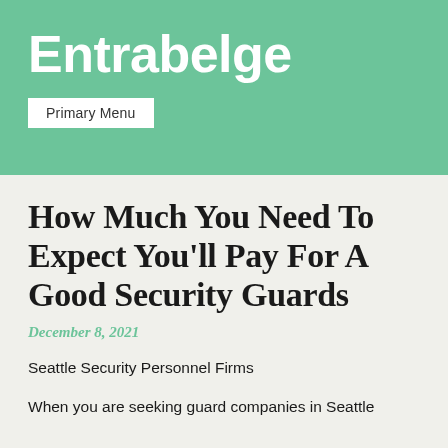Entrabelge
Primary Menu
How Much You Need To Expect You'll Pay For A Good Security Guards
December 8, 2021
Seattle Security Personnel Firms
When you are seeking guard companies in Seattle